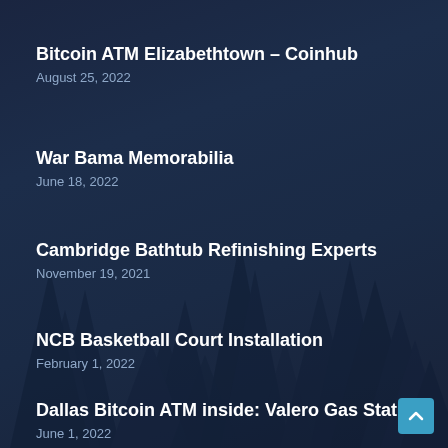Bitcoin ATM Elizabethtown – Coinhub
August 25, 2022
War Bama Memorabilia
June 18, 2022
Cambridge Bathtub Refinishing Experts
November 19, 2021
NCB Basketball Court Installation
February 1, 2022
Dallas Bitcoin ATM inside: Valero Gas Station
June 1, 2022